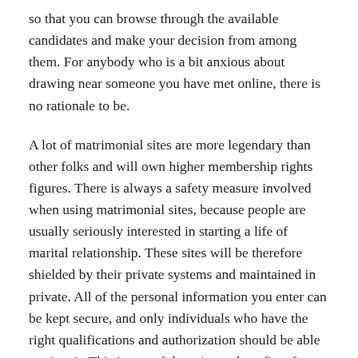so that you can browse through the available candidates and make your decision from among them. For anybody who is a bit anxious about drawing near someone you have met online, there is no rationale to be.
A lot of matrimonial sites are more legendary than other folks and will own higher membership rights figures. There is always a safety measure involved when using matrimonial sites, because people are usually seriously interested in starting a life of marital relationship. These sites will be therefore shielded by their private systems and maintained in private. All of the personal information you enter can be kept secure, and only individuals who have the right qualifications and authorization should be able to view it. This is one of the primary benefits of applying matrimonial sites, it's really simple nonetheless it works very well!
There are several approaches to search for life partners applying matrimonial websites. The most obvious is throughout the advanced search function, to choose the criteria you have in mind (either nation of origin, age, faith etc). Then simply click search, and check out the results. Usually, you'll be able to watch photos of people you